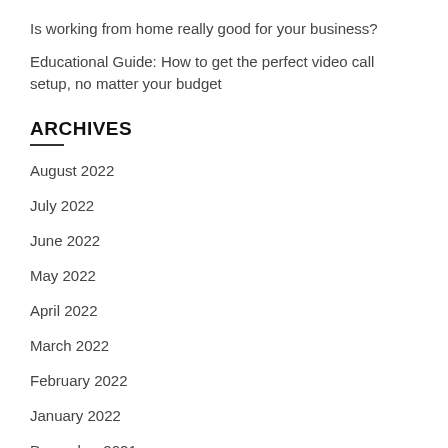Is working from home really good for your business?
Educational Guide: How to get the perfect video call setup, no matter your budget
ARCHIVES
August 2022
July 2022
June 2022
May 2022
April 2022
March 2022
February 2022
January 2022
December 2021